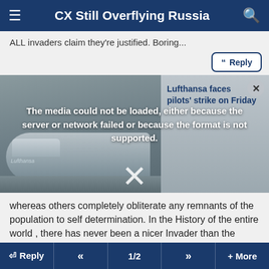CX Still Overflying Russia
ALL invaders claim they're justified. Boring...
[Figure (screenshot): Video player showing Lufthansa aircraft on tarmac with error overlay: 'The media could not be loaded, either because the server or network failed or because the format is not supported.' Overlaid news headline: 'Lufthansa faces pilots strike on Friday'. Close button (x) in top right. Large X symbol at bottom center.]
whereas others completely obliterate any remnants of the population to self determination. In the History of the entire world , there has never been a nicer Invader than the USA.. and as for Vietnam, if you lived in Fragrant harbor and saw the 20 years of boat people that had to flee that country you would understand that a bit clearer.
Reply  «  1/2  »  + More